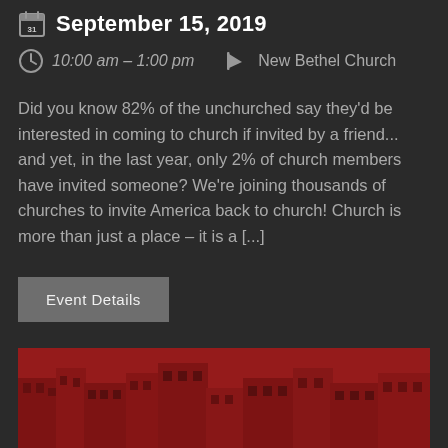September 15, 2019
10:00 am – 1:00 pm   New Bethel Church
Did you know 82% of the unchurched say they'd be interested in coming to church if invited by a friend... and yet, in the last year, only 2% of church members have invited someone? We're joining thousands of churches to invite America back to church! Church is more than just a place – it is a [...]
Event Details
[Figure (photo): Red-tinted aerial or street-level view of a dense urban neighborhood with buildings]